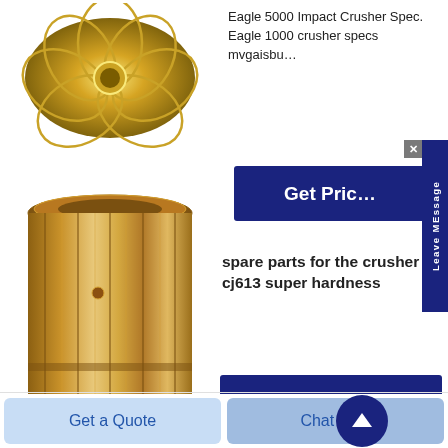[Figure (photo): Gold decorative metal part with petal-like pattern, top view]
Eagle 5000 Impact Crusher Spec. Eagle 1000 crusher specs mvgaisbu…
[Figure (other): Dark navy blue Get Price button, partially visible]
[Figure (other): Leave MEssage vertical sidebar tab with X close button]
[Figure (photo): Bronze/copper cylindrical crusher bushing spare part]
spare parts for the crusher cj613 super hardness
spare parts for the crusher cj613 crusher bronze casting suppliers for. Wh…
[Figure (other): Get Price button, navy blue]
Get a Quote
Chat Now